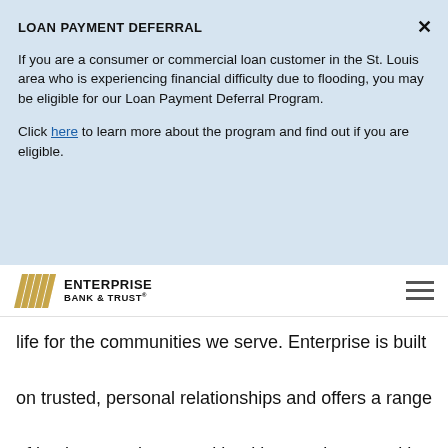LOAN PAYMENT DEFERRAL
If you are a consumer or commercial loan customer in the St. Louis area who is experiencing financial difficulty due to flooding, you may be eligible for our Loan Payment Deferral Program.
Click here to learn more about the program and find out if you are eligible.
[Figure (logo): Enterprise Bank & Trust logo with gold chevron/stripe icon]
life for the communities we serve. Enterprise is built on trusted, personal relationships and offers a range of business and personal banking services, wealth
[Figure (infographic): Social share icons: Facebook, Twitter, LinkedIn, Email, Print]